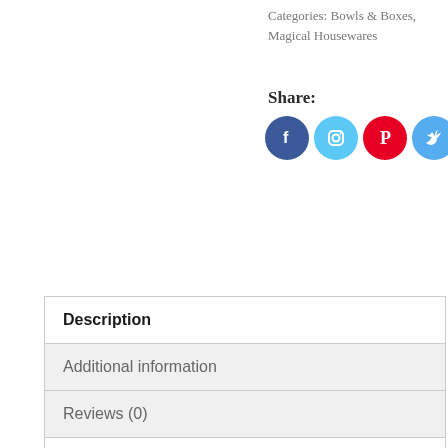Categories: Bowls & Boxes, Magical Housewares
Share:
[Figure (infographic): Six social media sharing icons in circles: Facebook (dark blue), Instagram (light blue), Pinterest (red), Twitter (light blue), Email (green), Copy link (yellow)]
Description
Additional information
Reviews (0)
This Evil Eye amulet originates from Turkey, where it was believed that when people looked at each other, they could transmit their bad energy with only one look. The Evil Eye Amulet can protect you from looks